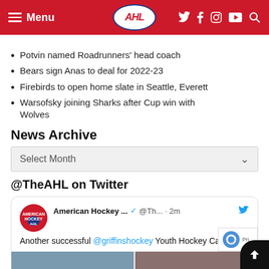AHL Menu navigation header with social icons
[partial heading in red, cropped]
Potvin named Roadrunners' head coach
Bears sign Anas to deal for 2022-23
Firebirds to open home slate in Seattle, Everett
Warsofsky joining Sharks after Cup win with Wolves
News Archive
Select Month
@TheAHL on Twitter
American Hockey ... @Th... · 2m
Another successful @griffinshockey Youth Hockey Camp 🏒